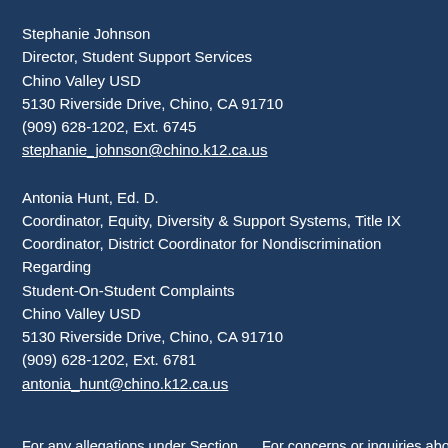Stephanie Johnson
Director, Student Support Services
Chino Valley USD
5130 Riverside Drive, Chino, CA 91710
(909) 628-1202, Ext. 6745
stephanie_johnson@chino.k12.ca.us
Antonia Hunt, Ed. D.
Coordinator, Equity, Diversity & Support Systems, Title IX
Coordinator, District Coordinator for Nondiscrimination Regarding Student-On-Student Complaints
Chino Valley USD
5130 Riverside Drive, Chino, CA 91710
(909) 628-1202, Ext. 6781
antonia_hunt@chino.k12.ca.us
For any allegations under Section 504 of the Rehabilitation Act of 1973, contact your school administrator or:
For concerns or inquiries about District policies and procedures related to employee-to-employee, employee-to-student, or work/employment related discrimination, including how to